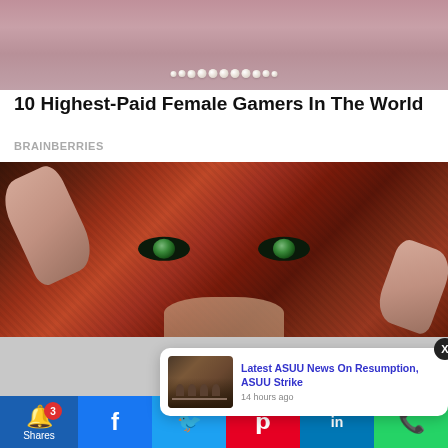[Figure (photo): Partial photo of a woman with pearl necklace, cropped at neck level, pink/mauve background]
10 Highest-Paid Female Gamers In The World
BRAINBERRIES
[Figure (photo): Close-up photo of a woman with green eyes peeking over a red/burgundy head wrap, hands holding the fabric]
[Figure (screenshot): Notification popup showing: Latest ASUU News On Resumption, ASUU Strike - 14 hours ago, with a thumbnail image of people at a meeting]
X
Shares
3
f
in
Latest ASUU News On Resumption, ASUU Strike
14 hours ago